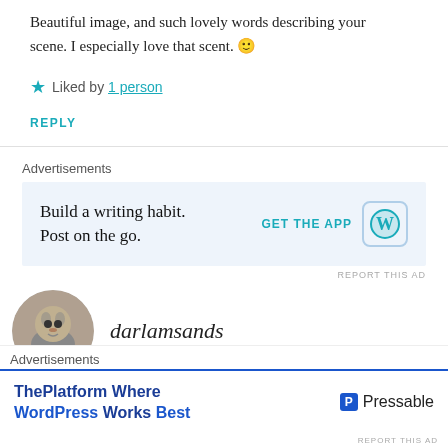Beautiful image, and such lovely words describing your scene. I especially love that scent. 🙂
★ Liked by 1 person
REPLY
Advertisements
[Figure (screenshot): WordPress app advertisement: 'Build a writing habit. Post on the go.' with GET THE APP button and WordPress icon]
REPORT THIS AD
[Figure (photo): Small circular avatar photo of a cat]
darlamsands
Advertisements
[Figure (screenshot): Pressable advertisement: 'ThePlatform Where WordPress Works Best']
REPORT THIS AD